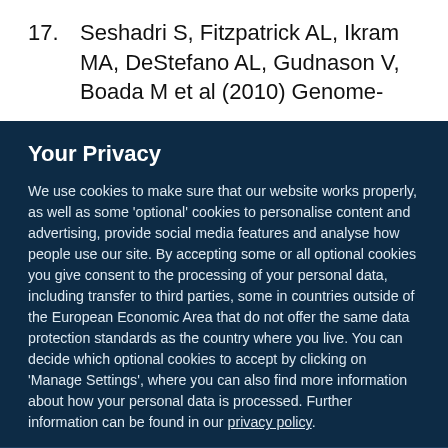17. Seshadri S, Fitzpatrick AL, Ikram MA, DeStefano AL, Gudnason V, Boada M et al (2010) Genome-
Your Privacy
We use cookies to make sure that our website works properly, as well as some 'optional' cookies to personalise content and advertising, provide social media features and analyse how people use our site. By accepting some or all optional cookies you give consent to the processing of your personal data, including transfer to third parties, some in countries outside of the European Economic Area that do not offer the same data protection standards as the country where you live. You can decide which optional cookies to accept by clicking on 'Manage Settings', where you can also find more information about how your personal data is processed. Further information can be found in our privacy policy.
Accept all cookies
Manage preferences